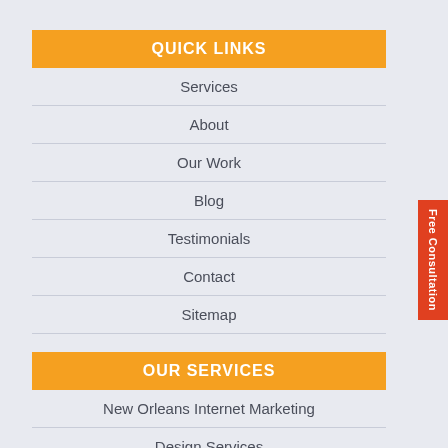QUICK LINKS
Services
About
Our Work
Blog
Testimonials
Contact
Sitemap
OUR SERVICES
New Orleans Internet Marketing
Design Services
White Label Services
Free Consultation